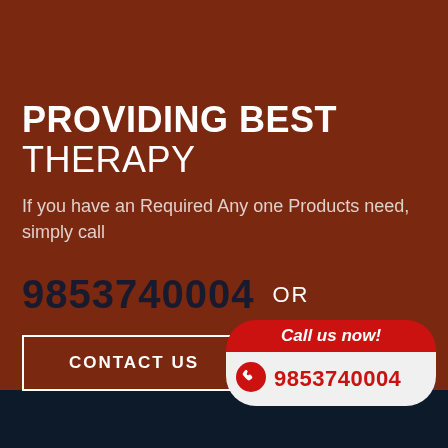PROVIDING BEST THERAPY
If you have an Required Any one Products need, simply call
9853740004  OR
CONTACT US
[Figure (infographic): Red call badge with 'Call us now!' text on top and phone icon with number 9853740004 on white bottom panel]